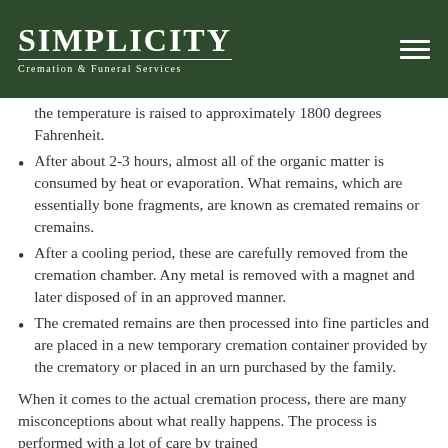Simplicity Cremation & Funeral Services
the temperature is raised to approximately 1800 degrees Fahrenheit.
After about 2-3 hours, almost all of the organic matter is consumed by heat or evaporation. What remains, which are essentially bone fragments, are known as cremated remains or cremains.
After a cooling period, these are carefully removed from the cremation chamber. Any metal is removed with a magnet and later disposed of in an approved manner.
The cremated remains are then processed into fine particles and are placed in a new temporary cremation container provided by the crematory or placed in an urn purchased by the family.
When it comes to the actual cremation process, there are many misconceptions about what really happens. The process is performed with a lot of care by trained